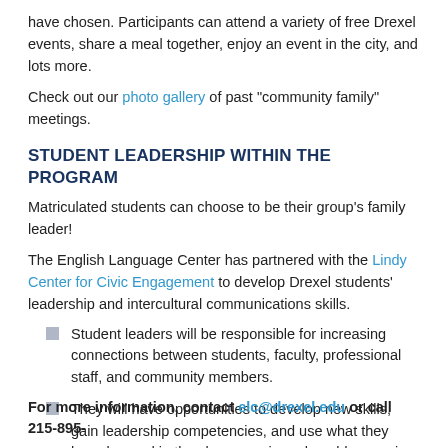have chosen. Participants can attend a variety of free Drexel events, share a meal together, enjoy an event in the city, and lots more.
Check out our photo gallery of past "community family" meetings.
STUDENT LEADERSHIP WITHIN THE PROGRAM
Matriculated students can choose to be their group's family leader!
The English Language Center has partnered with the Lindy Center for Civic Engagement to develop Drexel students' leadership and intercultural communications skills.
Student leaders will be responsible for increasing connections between students, faculty, professional staff, and community members.
They will have opportunities to develop new skills, gain leadership competencies, and use what they have learned in the classroom in real-world scenarios.
For more information, contact elc@drexel.edu or call 215-895-